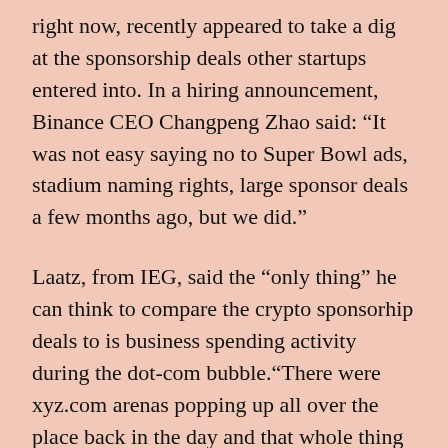right now, recently appeared to take a dig at the sponsorship deals other startups entered into. In a hiring announcement, Binance CEO Changpeng Zhao said: “It was not easy saying no to Super Bowl ads, stadium naming rights, large sponsor deals a few months ago, but we did.”
Laatz, from IEG, said the “only thing” he can think to compare the crypto sponsorhip deals to is business spending activity during the dot-com bubble.“There were xyz.com arenas popping up all over the place back in the day and that whole thing blew up and the deals went away,” he said.